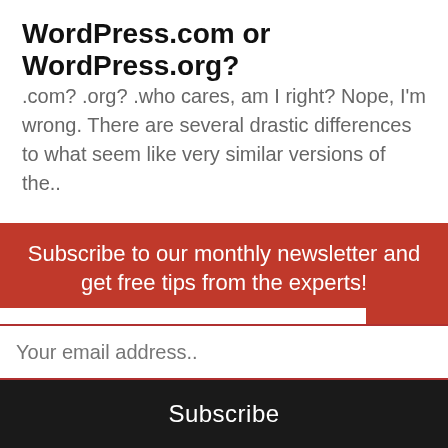WordPress.com or WordPress.org?
.com? .org? .who cares, am I right? Nope, I'm wrong. There are several drastic differences to what seem like very similar versions of the..
clock icon | comment icon 0
[Figure (other): Red square button with downward pointing triangle/arrow icon]
Subscribe to our monthly newsletter and get free tips from the experts!
Your email address..
Subscribe